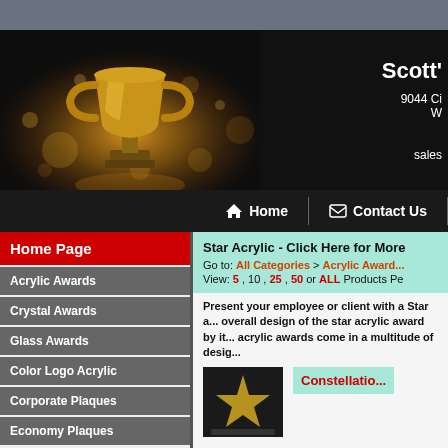[Figure (illustration): Top gray navigation bar of a website]
[Figure (photo): Website header banner with a golden trophy on dark background with bokeh golden light effects. Right side shows partial company name 'Scott', address '9044 Ci...', 'W...', and 'sales...' email]
[Figure (screenshot): Website navigation bar on black background with Home and Contact Us menu items]
Home Page
Acrylic Awards
Crystal Awards
Glass Awards
Color Logo Acrylic
Corporate Plaques
Economy Plaques
Star Acrylic - Click Here for More
Go to: All Categories > Acrylic Award... View: 5 , 10 , 25 , 50 or ALL Products Pe...
Present your employee or client with a Star a... overall design of the star acrylic award by it... acrylic awards come in a multitude of desig...
[Figure (photo): Small product thumbnail of a star acrylic award on dark background]
Constellatio...